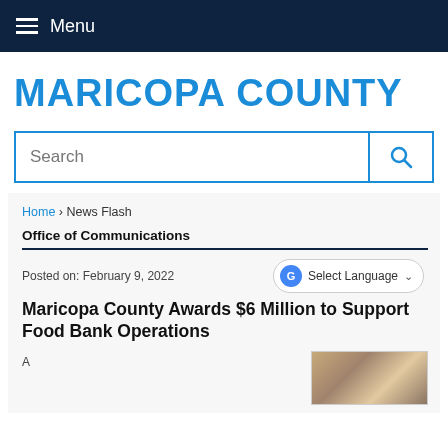Menu
MARICOPA COUNTY
Search
Home › News Flash
Office of Communications
Posted on: February 9, 2022
Select Language
Maricopa County Awards $6 Million to Support Food Bank Operations
[Figure (photo): Partial thumbnail image of food bank operations]